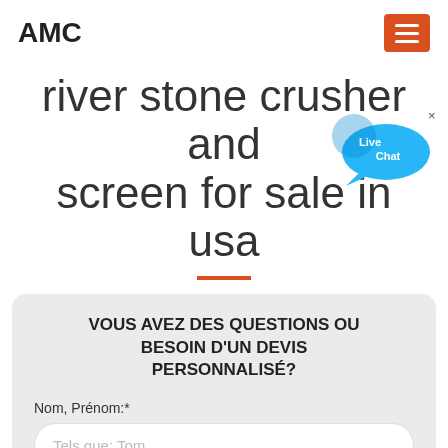AMC
river stone crusher and screen for sale in usa
[Figure (illustration): Live Chat bubble icon with 'Live Chat' text in blue speech bubble, with an X close button, positioned at top right of title]
VOUS AVEZ DES QUESTIONS OU BESOIN D'UN DEVIS PERSONNALISÉ?
Nom, Prénom:*
Tels que: Tom
E-mail:*